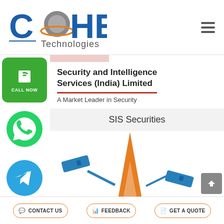[Figure (logo): Cohesive Technologies logo with sphere and orange ring]
Security and Intelligence Services (India) Limited
A Market Leader in Security
SIS Securities
[Figure (illustration): SIS Securities satellite and tower graphic in orange and blue]
[Figure (infographic): Left sidebar with Call Now button (green), WhatsApp icon, Telegram icon, and Support icon]
CONTACT US   FEEDBACK   GET A QUOTE